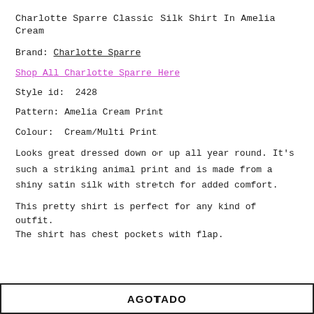Charlotte Sparre Classic Silk Shirt In Amelia Cream
Brand: Charlotte Sparre
Shop All Charlotte Sparre Here
Style id:  2428
Pattern: Amelia Cream Print
Colour:  Cream/Multi Print
Looks great dressed down or up all year round. It's such a striking animal print and is made from a shiny satin silk with stretch for added comfort.
This pretty shirt is perfect for any kind of outfit.
The shirt has chest pockets with flap.
AGOTADO